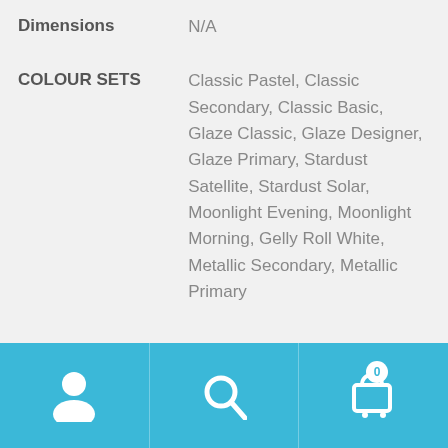| Attribute | Value |
| --- | --- |
| Dimensions | N/A |
| COLOUR SETS | Classic Pastel, Classic Secondary, Classic Basic, Glaze Classic, Glaze Designer, Glaze Primary, Stardust Satellite, Stardust Solar, Moonlight Evening, Moonlight Morning, Gelly Roll White, Metallic Secondary, Metallic Primary |
Related products